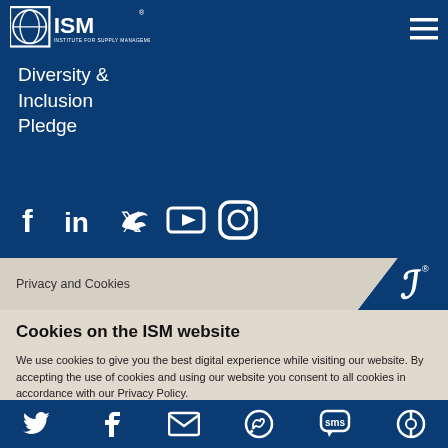[Figure (logo): ISM Institute for Supply Management logo in white on dark blue background]
Diversity & Inclusion Pledge
[Figure (infographic): Social media icons: Facebook, LinkedIn, Twitter, YouTube, Instagram in white]
Privacy and Cookies
Cookies on the ISM website
We use cookies to give you the best digital experience while visiting our website. By accepting the use of cookies and using our website you consent to all cookies in accordance with our Privacy Policy.
Privacy Policy   Contact Us
[Figure (infographic): Share bar with social icons: Twitter, Facebook, email, WhatsApp, SMS, other]